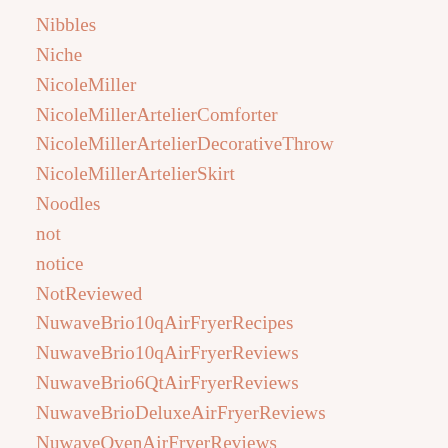Nibbles
Niche
NicoleMiller
NicoleMillerArtelierComforter
NicoleMillerArtelierDecorativeThrow
NicoleMillerArtelierSkirt
Noodles
not
notice
NotReviewed
NuwaveBrio10qAirFryerRecipes
NuwaveBrio10qAirFryerReviews
NuwaveBrio6QtAirFryerReviews
NuwaveBrioDeluxeAirFryerReviews
NuwaveOvenAirFryerReviews